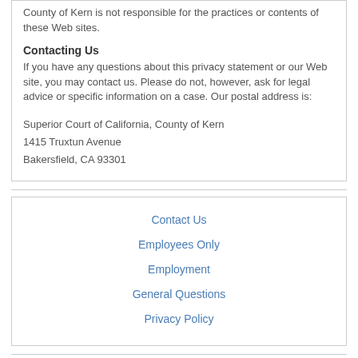County of Kern is not responsible for the practices or contents of these Web sites.
Contacting Us
If you have any questions about this privacy statement or our Web site, you may contact us. Please do not, however, ask for legal advice or specific information on a case. Our postal address is:
Superior Court of California, County of Kern
1415 Truxtun Avenue
Bakersfield, CA 93301
Contact Us
Employees Only
Employment
General Questions
Privacy Policy